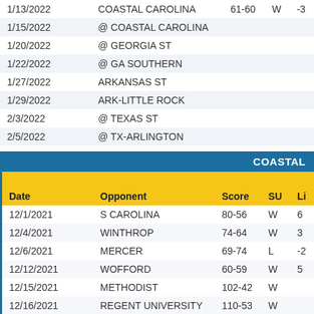| Date | Opponent | Score | SU | Li |
| --- | --- | --- | --- | --- |
| 1/13/2022 | COASTAL CAROLINA | 61-60 | W | -3 |
| 1/15/2022 | @ COASTAL CAROLINA |  |  |  |
| 1/20/2022 | @ GEORGIA ST |  |  |  |
| 1/22/2022 | @ GA SOUTHERN |  |  |  |
| 1/27/2022 | ARKANSAS ST |  |  |  |
| 1/29/2022 | ARK-LITTLE ROCK |  |  |  |
| 2/3/2022 | @ TEXAS ST |  |  |  |
| 2/5/2022 | @ TX-ARLINGTON |  |  |  |
| Date | Opponent | Score | SU | Li |
| --- | --- | --- | --- | --- |
| 12/1/2021 | S CAROLINA | 80-56 | W | 6 |
| 12/4/2021 | WINTHROP | 74-64 | W | 3 |
| 12/6/2021 | MERCER | 69-74 | L | -2 |
| 12/12/2021 | WOFFORD | 60-59 | W | 5 |
| 12/15/2021 | METHODIST | 102-42 | W |  |
| 12/16/2021 | REGENT UNIVERSITY | 110-53 | W |  |
| 12/19/2021 | @ MIDDLE TENN ST | 80-84 | L | 3 |
| 12/30/2021 | LA-MONROE | 94-64 | W | -4 |
| 1/1/2022 | LA-LAFAYETTE | 64-65 | L | -5 |
| 1/2/2022 | EMORY & HENRY | 76-62 | W |  |